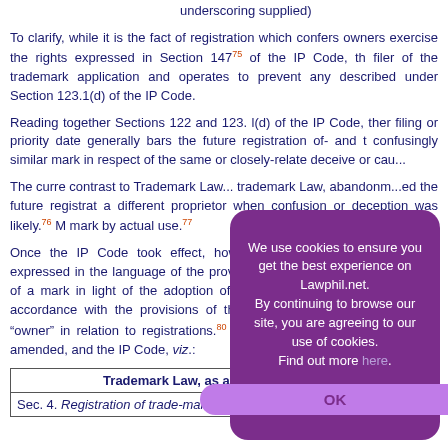underscoring supplied)
To clarify, while it is the fact of registration which confers owners exercise the rights expressed in Section 147³75 of the IP Code, th filer of the trademark application and operates to prevent any described under Section 123.1(d) of the IP Code.
Reading together Sections 122 and 123. l(d) of the IP Code, ther filing or priority date generally bars the future registration of- and t confusingly similar mark in respect of the same or closely-relate deceive or cau...
The curre... contrast to Trademark Law... trademark Law, abandonm... the future registrat a different proprietor when confusion or deception was likely.³76 M mark by actual use.³77
Once the IP Code took effect, however, the general rule on owne expressed in the language of the provisions of the IP Code, p ownership of a mark in light of the adoption of the rule that own made validly in accordance with the provisions of the IP Code.³79 Code use the term “owner” in relation to registrations.³80 This fact i the Trademark Law, as amended, and the IP Code, viz.:
| Trademark Law, as amended | SECTI |
| --- | --- |
| Sec. 4. Registration of trade-marks, trade-names | SECTI |